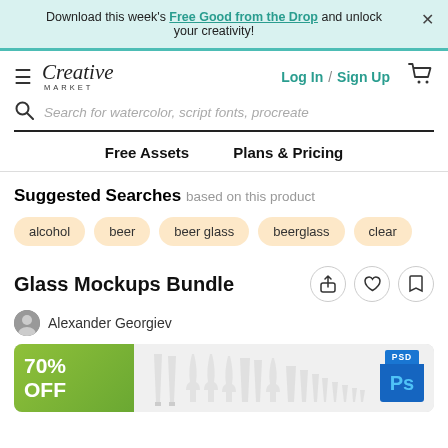Download this week's Free Good from the Drop and unlock your creativity!
[Figure (screenshot): Creative Market navigation bar with hamburger menu, logo, Log In / Sign Up links, and cart icon]
Search for watercolor, script fonts, procreate
Free Assets   Plans & Pricing
Suggested Searches  based on this product
alcohol
beer
beer glass
beerglass
clear
Glass Mockups Bundle
Alexander Georgiev
[Figure (photo): Product banner showing Glass Mockups Bundle with 70% OFF badge and multiple beer glass mockups, PSD file type badge]